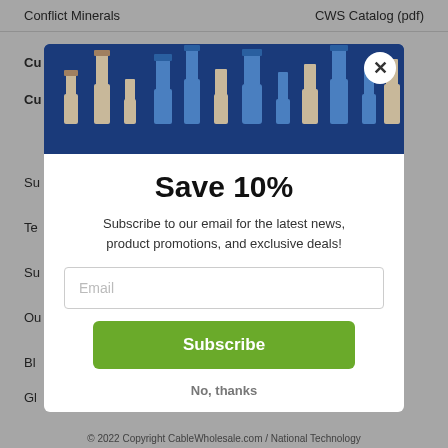Conflict Minerals    CWS Catalog (pdf)
Cu...
Cu...
Su...
Te...
Su...
Ou...
Bl...
Gl...
Co...
In...
[Figure (screenshot): Email subscription modal popup with dark blue header showing cable connector icons, title 'Save 10%', subtitle about subscribing for news and deals, email input field, green Subscribe button, and No thanks link]
© 2022 Copyright CableWholesale.com / National Technology